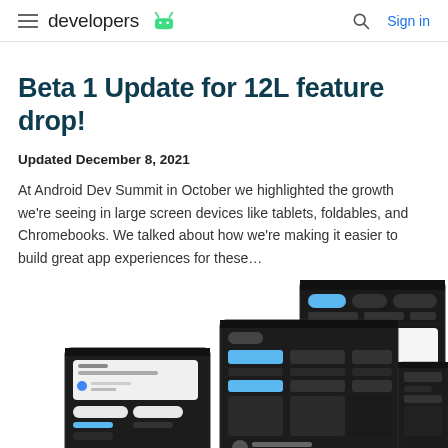developers
Beta 1 Update for 12L feature drop!
Updated December 8, 2021
At Android Dev Summit in October we highlighted the growth we're seeing in large screen devices like tablets, foldables, and Chromebooks. We talked about how we're making it easier to build great app experiences for these...
[Figure (screenshot): Multiple Android tablet and phone screenshots showing dark-mode UI with notification panels, messaging apps, and media controls]